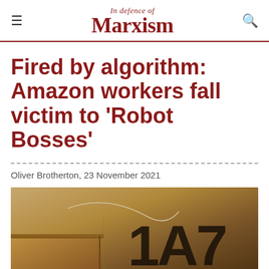In Defence of Marxism
Fired by algorithm: Amazon workers fall victim to 'Robot Bosses'
Oliver Brotherton, 23 November 2021
[Figure (photo): Close-up photo of a cardboard Amazon shipping box with the label '1A7' printed on it, with a piece of wire or string visible]